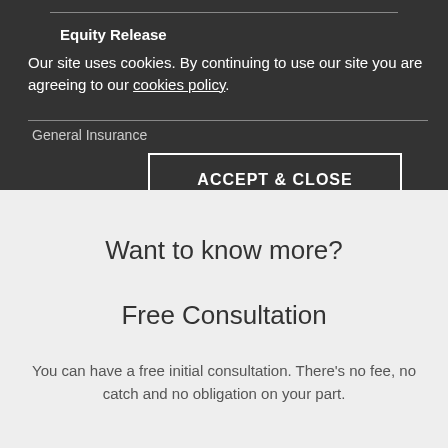Equity Release
Our site uses cookies. By continuing to use our site you are agreeing to our cookies policy.
General Insurance
ACCEPT & CLOSE
Want to know more?
Free Consultation
You can have a free initial consultation. There's no fee, no catch and no obligation on your part.